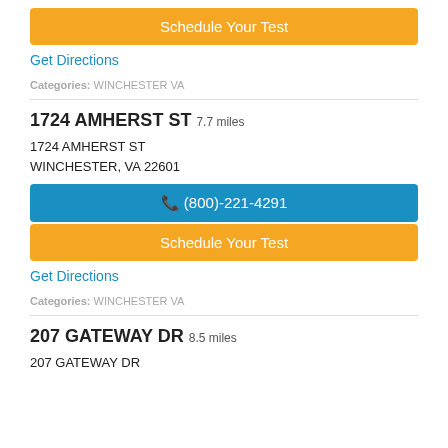Schedule Your Test
Get Directions
Categories: WINCHESTER VA
1724 AMHERST ST 7.7 miles
1724 AMHERST ST
WINCHESTER, VA 22601
(800)-221-4291
Schedule Your Test
Get Directions
Categories: WINCHESTER VA
207 GATEWAY DR 8.5 miles
207 GATEWAY DR